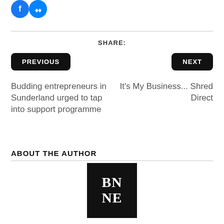[Figure (logo): Two overlapping blue social media icon circles (Facebook and Messenger)]
SHARE:
PREVIOUS
NEXT
Budding entrepreneurs in Sunderland urged to tap into support programme
It's My Business... Shred Direct
ABOUT THE AUTHOR
[Figure (logo): Black square logo with white serif text reading BN NE on two lines]